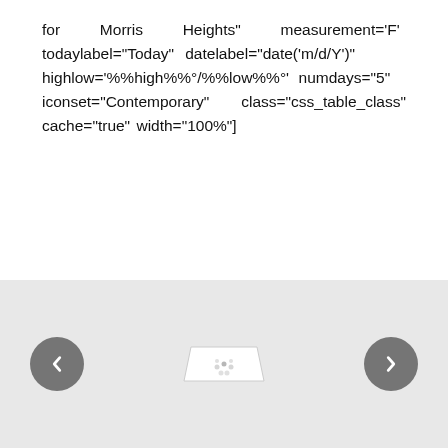for Morris Heights" measurement='F' todaylabel="Today" datelabel="date('m/d/Y')" highlow='%%high%%°/%%low%%°' numdays="5" iconset="Contemporary" class="css_table_class" cache="true" width="100%"]
[Figure (screenshot): A carousel UI component with a light gray background, left and right circular gray navigation arrows, and a loading spinner/image placeholder in the center.]